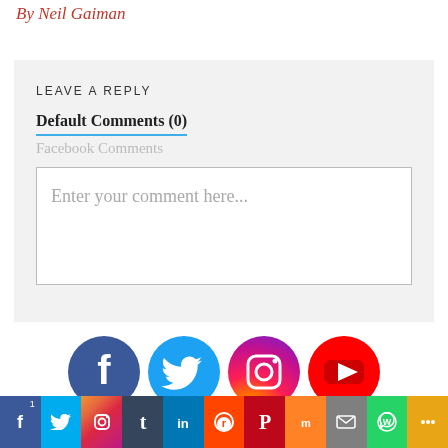By Neil Gaiman
LEAVE A REPLY
Default Comments (0)
Facebook Comments
Enter your comment here...
[Figure (infographic): Social media icon buttons: Facebook (dark blue circle with F), Twitter (light blue circle with bird), Instagram (purple-orange gradient circle with camera), YouTube (red circle with play button)]
[Figure (infographic): Share bar with social platform icons: Facebook (dark), Twitter (cyan), Instagram (gradient), Tumblr (dark blue), LinkedIn (blue), Reddit (orange-red), Pinterest (red), Mix (orange), Email (gray), WhatsApp (green), More (orange-yellow). Share count 1 shown on Facebook icon.]